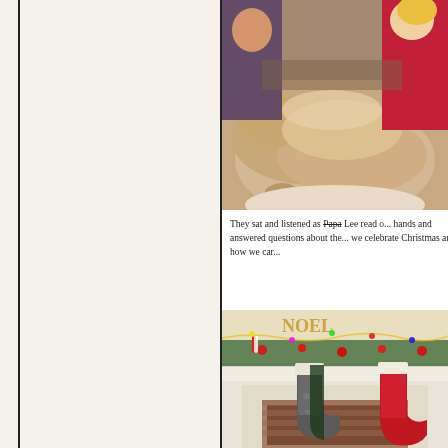[Figure (photo): Photo of children and a dog in a living room setting, partially cropped]
They sat and listened as Papa Lee read o... hands and answered questions about the... we celebrate Christmas and how we car...
[Figure (photo): Photo of Christmas stockings hanging on a fireplace mantle with holiday decorations]